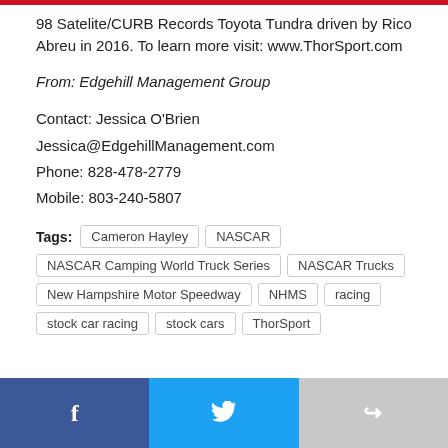98 Satelite/CURB Records Toyota Tundra driven by Rico Abreu in 2016. To learn more visit: www.ThorSport.com
From: Edgehill Management Group
Contact: Jessica O'Brien
Jessica@EdgehillManagement.com
Phone: 828-478-2779
Mobile: 803-240-5807
Tags: Cameron Hayley | NASCAR | NASCAR Camping World Truck Series | NASCAR Trucks | New Hampshire Motor Speedway | NHMS | racing | stock car racing | stock cars | ThorSport